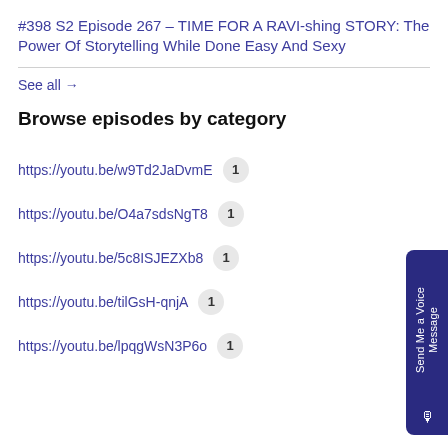#398 S2 Episode 267 – TIME FOR A RAVI-shing STORY: The Power Of Storytelling While Done Easy And Sexy
See all →
Browse episodes by category
https://youtu.be/w9Td2JaDvmE  1
https://youtu.be/O4a7sdsNgT8  1
https://youtu.be/5c8ISJEZXb8  1
https://youtu.be/tilGsH-qnjA  1
https://youtu.be/lpqgWsN3P6o  1